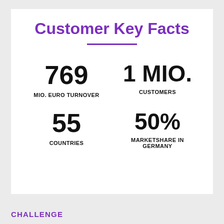Customer Key Facts
769 MIO. EURO TURNOVER
1 MIO. CUSTOMERS
55 COUNTRIES
50% MARKETSHARE IN GERMANY
CHALLENGE